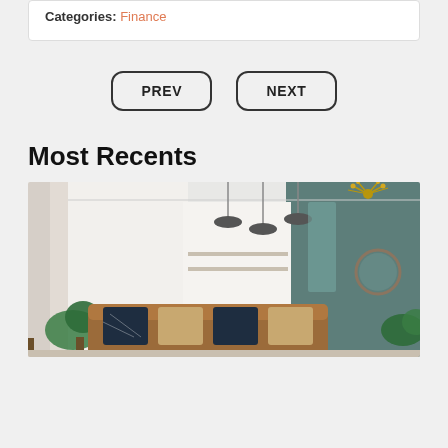Categories: Finance
PREV
NEXT
Most Recents
[Figure (photo): Interior photo of a modern open-plan living room with teal accent wall, pendant lights, brown leather sofa with patterned cushions, and indoor plants.]